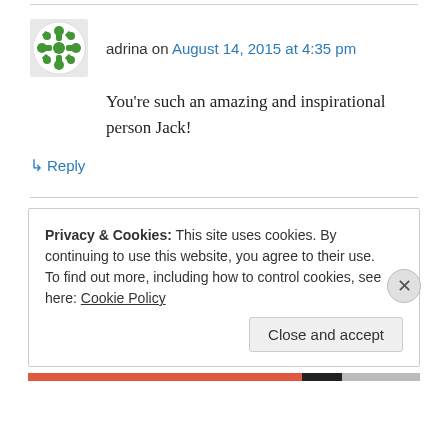adrina on August 14, 2015 at 4:35 pm
You're such an amazing and inspirational person Jack!
↳ Reply
Privacy & Cookies: This site uses cookies. By continuing to use this website, you agree to their use. To find out more, including how to control cookies, see here: Cookie Policy
Close and accept